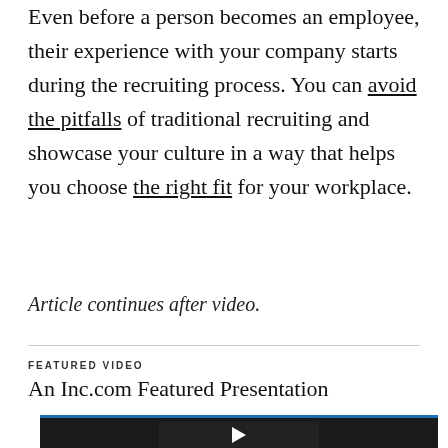Even before a person becomes an employee, their experience with your company starts during the recruiting process. You can avoid the pitfalls of traditional recruiting and showcase your culture in a way that helps you choose the right fit for your workplace.
Article continues after video.
FEATURED VIDEO
An Inc.com Featured Presentation
[Figure (screenshot): Video thumbnail with dark background and blue top border, showing a small video player with play button]